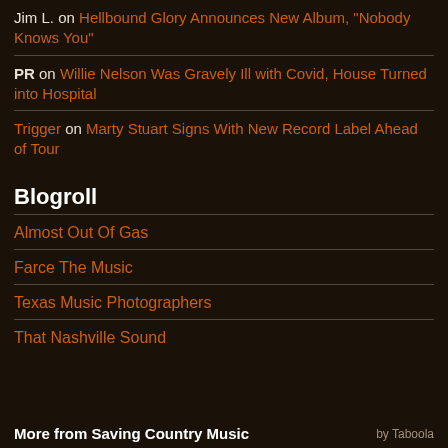Jim L. on Hellbound Glory Announces New Album, "Nobody Knows You"
PR on Willie Nelson Was Gravely Ill with Covid, House Turned into Hospital
Trigger on Marty Stuart Signs With New Record Label Ahead of Tour
Blogroll
Almost Out Of Gas
Farce The Music
Texas Music Photographers
That Nashville Sound
More from Saving Country Music    by Taboola